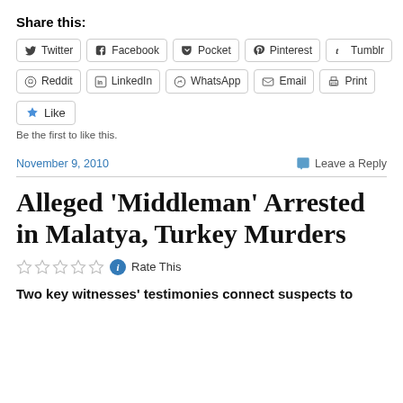Share this:
[Figure (screenshot): Social sharing buttons row 1: Twitter, Facebook, Pocket, Pinterest, Tumblr]
[Figure (screenshot): Social sharing buttons row 2: Reddit, LinkedIn, WhatsApp, Email, Print]
[Figure (screenshot): Like button]
Be the first to like this.
November 9, 2010
Leave a Reply
Alleged ‘Middleman’ Arrested in Malatya, Turkey Murders
Rate This
Two key witnesses’ testimonies connect suspects to